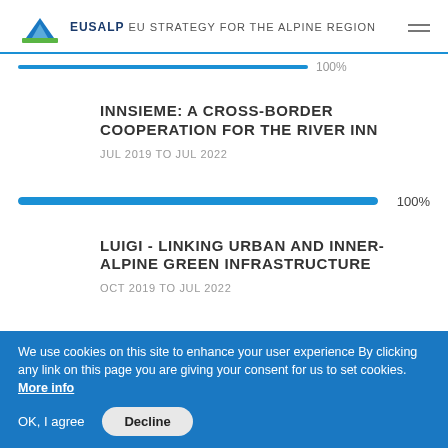EUSALP EU STRATEGY FOR THE ALPINE REGION
[Figure (other): Partial blue progress bar at top]
INNSIEME: A CROSS-BORDER COOPERATION FOR THE RIVER INN
JUL 2019 TO JUL 2022
[Figure (other): Blue progress bar showing 100%]
100%
LUIGI - LINKING URBAN AND INNER-ALPINE GREEN INFRASTRUCTURE
OCT 2019 TO JUL 2022
We use cookies on this site to enhance your user experience By clicking any link on this page you are giving your consent for us to set cookies. More info
OK, I agree   Decline